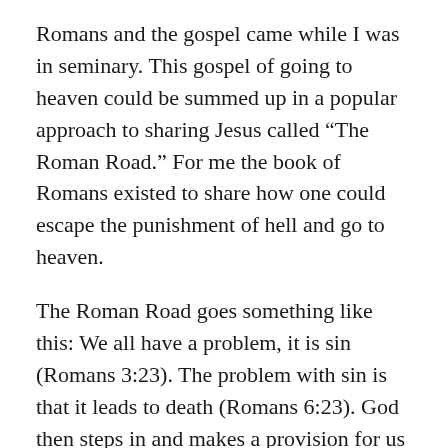Romans and the gospel came while I was in seminary. This gospel of going to heaven could be summed up in a popular approach to sharing Jesus called “The Roman Road.” For me the book of Romans existed to share how one could escape the punishment of hell and go to heaven.
The Roman Road goes something like this: We all have a problem, it is sin (Romans 3:23). The problem with sin is that it leads to death (Romans 6:23). God then steps in and makes a provision for us through his son who takes on our death and punishment (Romans 5:8). This is a free gift which we cannot earn (Romans 6:23b). If we want this free gift then we must